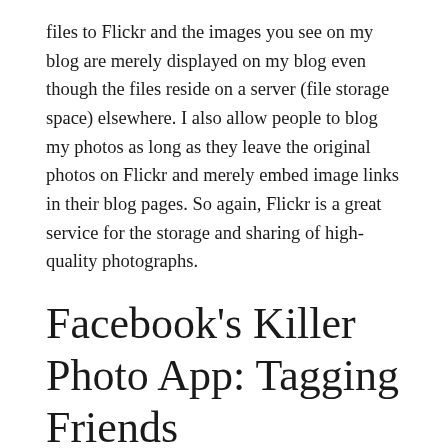files to Flickr and the images you see on my blog are merely displayed on my blog even though the files reside on a server (file storage space) elsewhere. I also allow people to blog my photos as long as they leave the original photos on Flickr and merely embed image links in their blog pages. So again, Flickr is a great service for the storage and sharing of high-quality photographs.
Facebook's Killer Photo App: Tagging Friends
Facebook, on the other hand, is great for sharing photos of friends with friends. Facebook has a